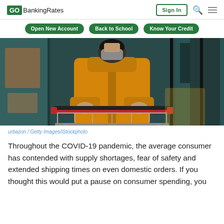GOBankingRates | Sign In
Open New Account | Back to School | Know Your Credit
[Figure (photo): Person wearing a face mask and yellow puffer jacket pushing a shopping cart outside a store with glass facade]
urbazon / Getty Images/iStockphoto
Throughout the COVID-19 pandemic, the average consumer has contended with supply shortages, fear of safety and extended shipping times on even domestic orders. If you thought this would put a pause on consumer spending, you